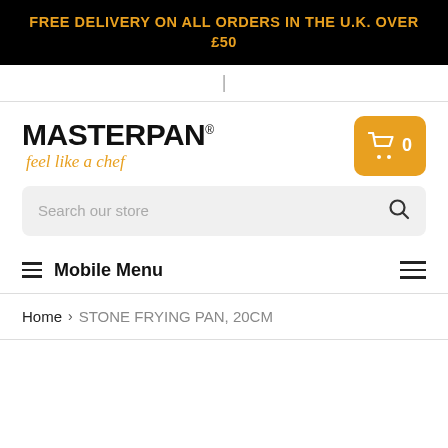FREE DELIVERY ON ALL ORDERS IN THE U.K. OVER £50
[Figure (logo): Masterpan logo with 'feel like a chef' tagline and shopping cart button showing 0 items]
Search our store
Mobile Menu
Home > STONE FRYING PAN, 20CM